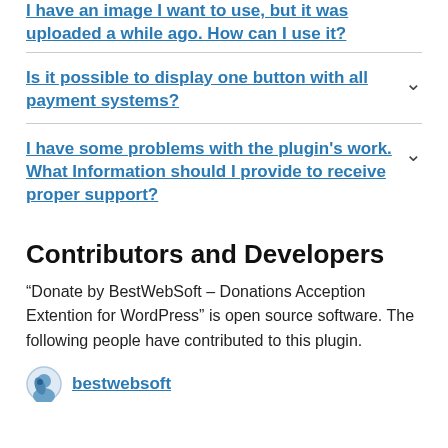I have an image I want to use, but it was uploaded a while ago. How can I use it?
Is it possible to display one button with all payment systems?
I have some problems with the plugin's work. What Information should I provide to receive proper support?
Contributors and Developers
“Donate by BestWebSoft – Donations Acception Extention for WordPress” is open source software. The following people have contributed to this plugin.
bestwebsoft